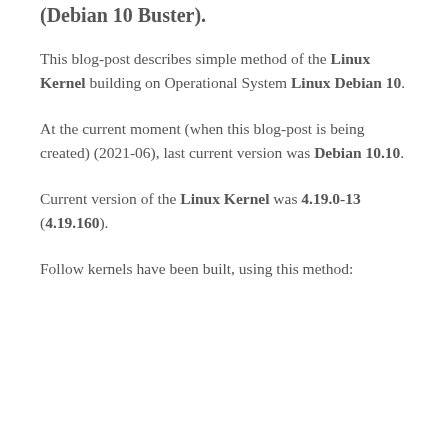(Debian 10 Buster).
This blog-post describes simple method of the Linux Kernel building on Operational System Linux Debian 10.
At the current moment (when this blog-post is being created) (2021-06), last current version was Debian 10.10.
Current version of the Linux Kernel was 4.19.0-13 (4.19.160).
Follow kernels have been built, using this method: